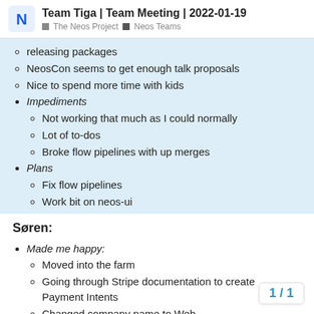Team Tiga | Team Meeting | 2022-01-19 — The Neos Project  Neos Teams
releasing packages
NeosCon seems to get enough talk proposals
Nice to spend more time with kids
Impediments
Not working that much as I could normally
Lot of to-dos
Broke flow pipelines with up merges
Plans
Fix flow pipelines
Work bit on neos-ui
Søren:
Made me happy:
Moved into the farm
Going through Stripe documentation to create Payment Intents
Changed company name to Web
Impediments
1 / 1